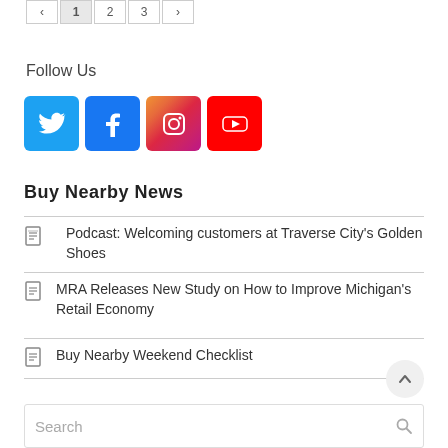[Figure (other): Pagination buttons: 1, 2, 3, and arrow]
Follow Us
[Figure (infographic): Social media icons: Twitter (blue bird), Facebook (blue f), Instagram (gradient camera), YouTube (red play button)]
Buy Nearby News
Podcast: Welcoming customers at Traverse City's Golden Shoes
MRA Releases New Study on How to Improve Michigan's Retail Economy
Buy Nearby Weekend Checklist
[Figure (other): Search bar with magnifying glass icon]